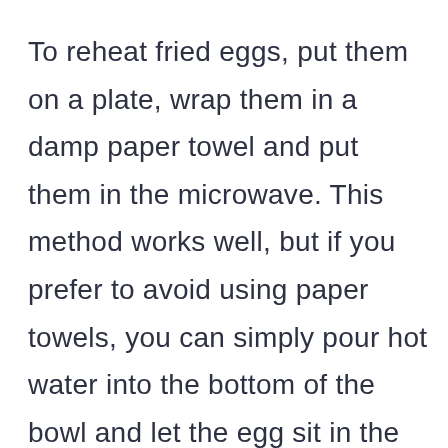To reheat fried eggs, put them on a plate, wrap them in a damp paper towel and put them in the microwave. This method works well, but if you prefer to avoid using paper towels, you can simply pour hot water into the bottom of the bowl and let the egg sit in the water until ready to eat. Step 3: Remove from the Microwave After heating the eggs, remove them from the microwave and serve